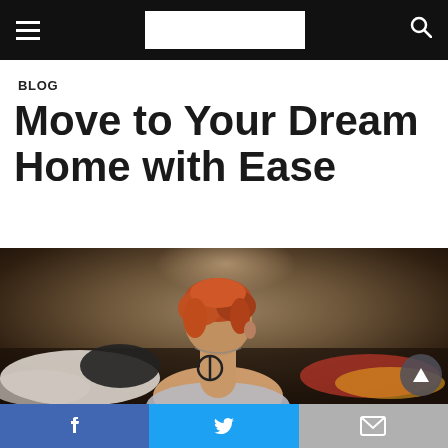[navigation bar with hamburger menu, logo, and search icon]
BLOG
Move to Your Dream Home with Ease
[Figure (photo): Person with red hair and a tattoo on their back/neck, sitting among scattered clothing and luggage, viewed from behind, in a dimly lit room.]
[Share bar: Facebook, Twitter, Email buttons]